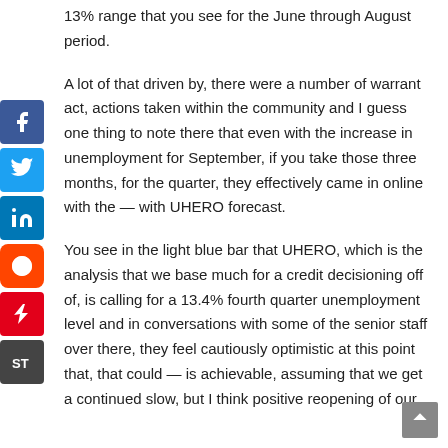13% range that you see for the June through August period.
A lot of that driven by, there were a number of warrant act, actions taken within the community and I guess one thing to note there that even with the increase in unemployment for September, if you take those three months, for the quarter, they effectively came in online with the — with UHERO forecast.
You see in the light blue bar that UHERO, which is the analysis that we base much for a credit decisioning off of, is calling for a 13.4% fourth quarter unemployment level and in conversations with some of the senior staff over there, they feel cautiously optimistic at this point that, that could — is achievable, assuming that we get a continued slow, but I think positive reopening of our